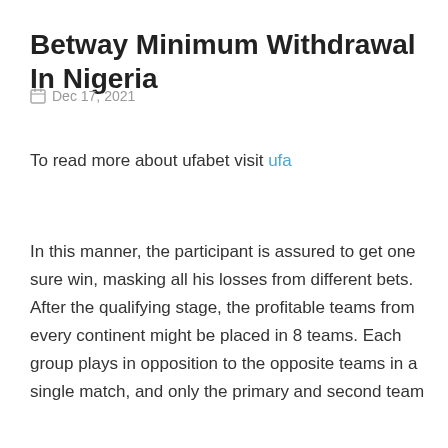Betway Minimum Withdrawal In Nigeria
Dec 17, 2021
To read more about ufabet visit ufa
In this manner, the participant is assured to get one sure win, masking all his losses from different bets. After the qualifying stage, the profitable teams from every continent might be placed in 8 teams. Each group plays in opposition to the opposite teams in a single match, and only the primary and second team